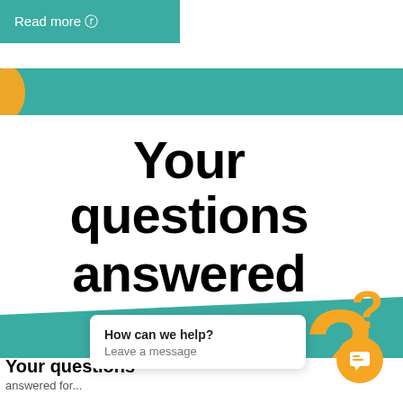[Figure (screenshot): Website screenshot showing a 'Read more' button in teal at top left, a large bold heading 'Your questions answered' in black on white background, teal banner strips top and bottom, orange question mark decorations at right, and a chat widget popup at bottom right reading 'How can we help? Leave a message' with an orange chat bubble button.]